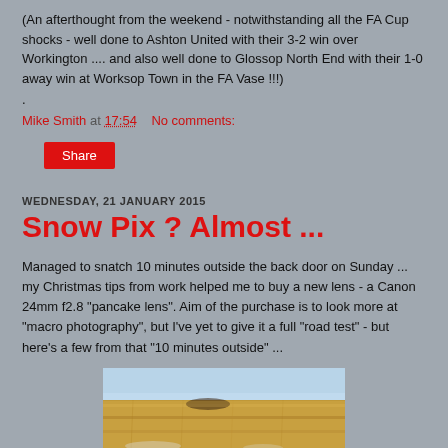(An afterthought from the weekend - notwithstanding all the FA Cup shocks - well done to Ashton United with their 3-2 win over Workington .... and also well done to Glossop North End with their 1-0 away win at Worksop Town in the FA Vase !!!)
.
Mike Smith at 17:54    No comments:
Share
WEDNESDAY, 21 JANUARY 2015
Snow Pix ? Almost ...
Managed to snatch 10 minutes outside the back door on Sunday ... my Christmas tips from work helped me to buy a new lens - a Canon 24mm f2.8 "pancake lens".  Aim of the purchase is to look more at "macro photography", but I've yet to give it a full "road test" - but here's a few from that "10 minutes outside" ...
[Figure (photo): Close-up photo of what appears to be a bamboo or wooden pole/cane against a blue sky background, with some ice or frost visible at the bottom]